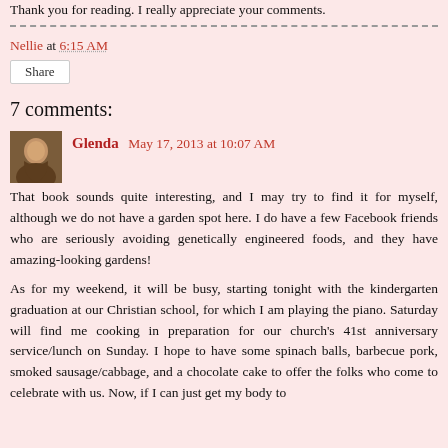Thank you for reading. I really appreciate your comments.
Nellie at 6:15 AM
Share
7 comments:
Glenda  May 17, 2013 at 10:07 AM
That book sounds quite interesting, and I may try to find it for myself, although we do not have a garden spot here. I do have a few Facebook friends who are seriously avoiding genetically engineered foods, and they have amazing-looking gardens!
As for my weekend, it will be busy, starting tonight with the kindergarten graduation at our Christian school, for which I am playing the piano. Saturday will find me cooking in preparation for our church's 41st anniversary service/lunch on Sunday. I hope to have some spinach balls, barbecue pork, smoked sausage/cabbage, and a chocolate cake to offer the folks who come to celebrate with us. Now, if I can just get my body to